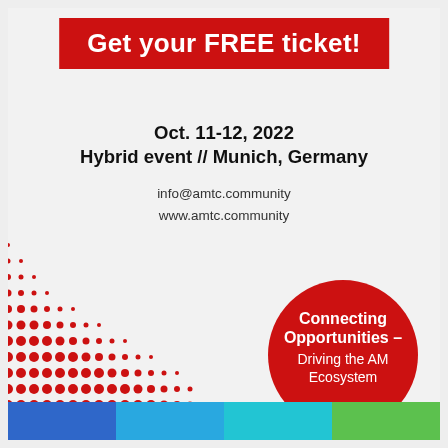Get your FREE ticket!
Oct. 11-12, 2022
Hybrid event // Munich, Germany
info@amtc.community
www.amtc.community
[Figure (illustration): Red halftone dot pattern forming a sweeping wave/arc from lower left to center right of the page, composed of many small red circles of varying sizes]
[Figure (other): Red circle badge with white text reading: Connecting Opportunities – Driving the AM Ecosystem]
[Figure (other): Bottom color bar with four colored segments: dark blue, medium blue, light blue/teal, and green]